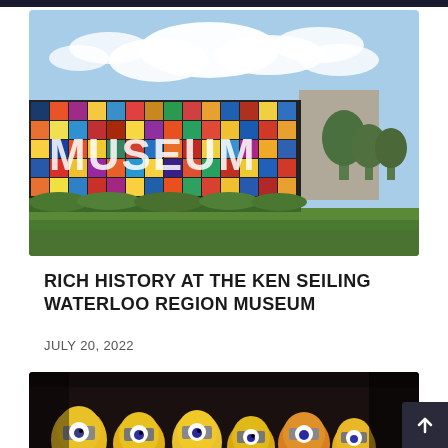[Figure (photo): Exterior of Ken Seiling Waterloo Region Museum with colorful mosaic facade spelling MUSEUM, blue sky with clouds, green lawn in foreground, trees to the right]
RICH HISTORY AT THE KEN SEILING WATERLOO REGION MUSEUM
JULY 20, 2022
[Figure (photo): Close-up photo of multiple Minion toy figures with yellow and orange coloring, dark background]